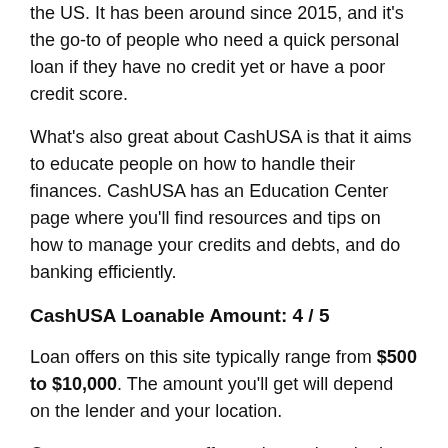the US. It has been around since 2015, and it's the go-to of people who need a quick personal loan if they have no credit yet or have a poor credit score.
What's also great about CashUSA is that it aims to educate people on how to handle their finances. CashUSA has an Education Center page where you'll find resources and tips on how to manage your credits and debts, and do banking efficiently.
CashUSA Loanable Amount: 4 / 5
Loan offers on this site typically range from $500 to $10,000. The amount you'll get will depend on the lender and your location.
Once you accept an offer and complete the loan approval, your money will be credited to your bank account on the next business day.
CashUSA Processing Fees and Rates: 4.8 / 5